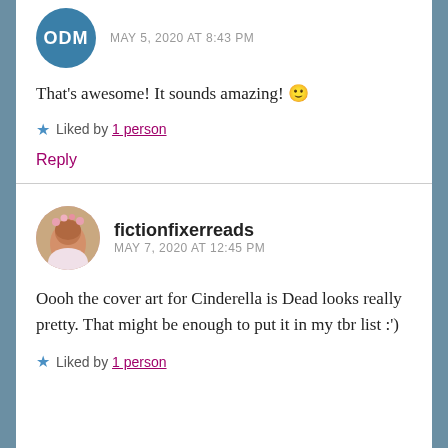[Figure (illustration): Circular avatar with teal/blue background and letters ODM in white]
MAY 5, 2020 AT 8:43 PM
That’s awesome! It sounds amazing! 🙂
★ Liked by 1 person
Reply
[Figure (photo): Circular avatar photo of a person with flowers in hair]
fictionfixerreads
MAY 7, 2020 AT 12:45 PM
Oooh the cover art for Cinderella is Dead looks really pretty. That might be enough to put it in my tbr list :')
★ Liked by 1 person